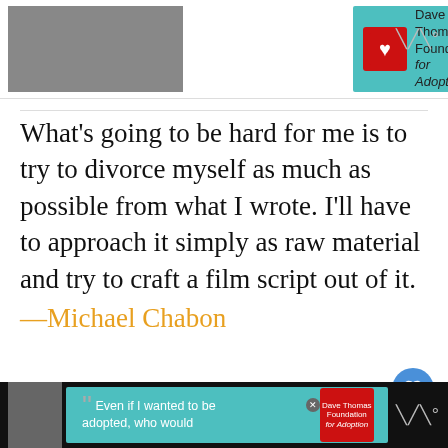[Figure (other): Top advertisement banner for Dave Thomas Foundation for Adoption on teal background, partially visible]
What's going to be hard for me is to try to divorce myself as much as possible from what I wrote. I'll have to approach it simply as raw material and try to craft a film script out of it.
—Michael Chabon
It feels a little scary for most writers because when you're writing, you're completely in charge you can say this book is all mine, it's m Whether giving over some of that has any me
[Figure (other): Bottom advertisement banner: 'Even if I wanted to be adopted, who would' with Dave Thomas Foundation for Adoption logo on dark background]